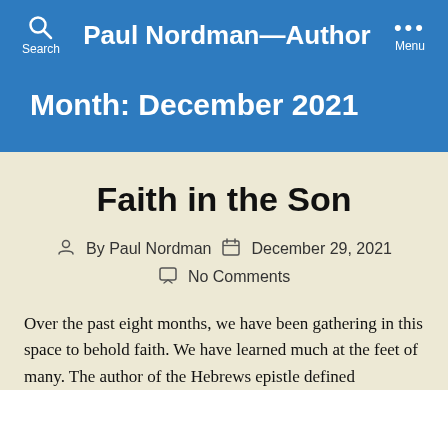Paul Nordman—Author
Month: December 2021
Faith in the Son
By Paul Nordman   December 29, 2021   No Comments
Over the past eight months, we have been gathering in this space to behold faith. We have learned much at the feet of many. The author of the Hebrews epistle defined